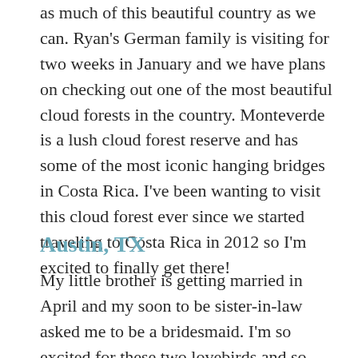as much of this beautiful country as we can. Ryan's German family is visiting for two weeks in January and we have plans on checking out one of the most beautiful cloud forests in the country. Monteverde is a lush cloud forest reserve and has some of the most iconic hanging bridges in Costa Rica. I've been wanting to visit this cloud forest ever since we started traveling to Costa Rica in 2012 so I'm excited to finally get there!
Austin, TX
My little brother is getting married in April and my soon to be sister-in-law asked me to be a bridesmaid. I'm so excited for these two lovebirds and so happy to be apart of their special day!